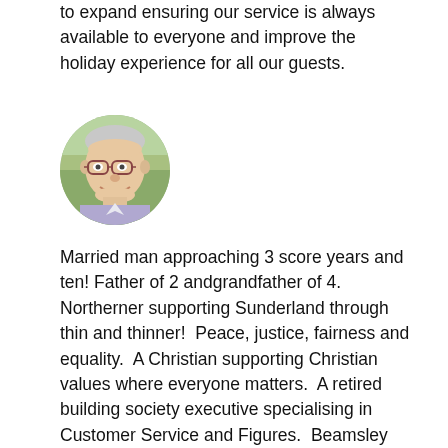to expand ensuring our service is always available to everyone and improve the holiday experience for all our guests.
[Figure (photo): Circular portrait photo of an elderly man with glasses, smiling, wearing a light-colored shirt, outdoors with blurred greenery background.]
Married man approaching 3 score years and ten! Father of 2 andgrandfather of 4.  Northerner supporting Sunderland through thin and thinner!  Peace, justice, fairness and equality.  A Christian supporting Christian values where everyone matters.  A retired building society executive specialising in Customer Service and Figures.  Beamsley provides a wonderful, caring,  and specialised venue within the